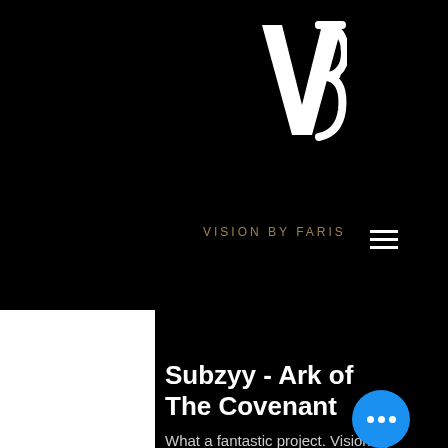[Figure (logo): Vision by Faris logo — stylized VF monogram in white on black background]
VISION BY FARIS
Subzyy - Ark of The Covenant
What a fantastic project. Vision by